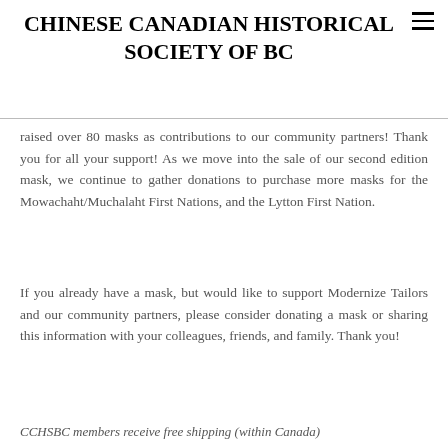CHINESE CANADIAN HISTORICAL SOCIETY OF BC
raised over 80 masks as contributions to our community partners! Thank you for all your support! As we move into the sale of our second edition mask, we continue to gather donations to purchase more masks for the Mowachaht/Muchalaht First Nations, and the Lytton First Nation.
If you already have a mask, but would like to support Modernize Tailors and our community partners, please consider donating a mask or sharing this information with your colleagues, friends, and family. Thank you!
CCHSBC members receive free shipping (within Canada)